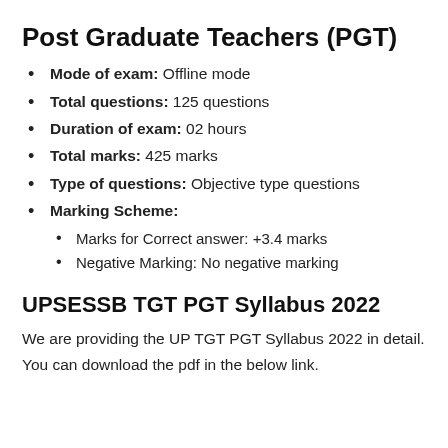Post Graduate Teachers (PGT)
Mode of exam: Offline mode
Total questions: 125 questions
Duration of exam: 02 hours
Total marks: 425 marks
Type of questions: Objective type questions
Marking Scheme:
Marks for Correct answer: +3.4 marks
Negative Marking: No negative marking
UPSESSB TGT PGT Syllabus 2022
We are providing the UP TGT PGT Syllabus 2022 in detail. You can download the pdf in the below link.